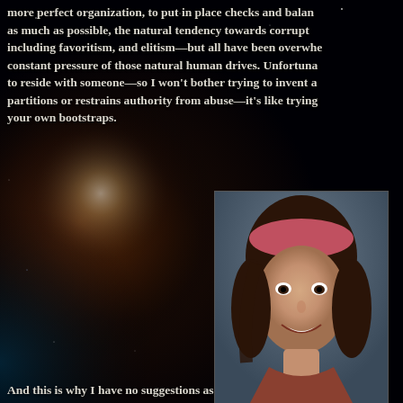more perfect organization, to put in place checks and balances as much as possible, the natural tendency towards corruption, including favoritism, and elitism—but all have been overwhelmed by the constant pressure of those natural human drives. Unfortunately, authority seems to reside with someone—so I won't bother trying to invent a system that partitions or restrains authority from abuse—it's like trying to lift yourself by your own bootstraps.
[Figure (photo): Portrait photo of a young woman with long dark brown hair and a pink/red headband, smiling at the camera. The photo appears to be a yearbook-style portrait from the 1970s era.]
And this is why I have no suggestions as to how to fix ourselves